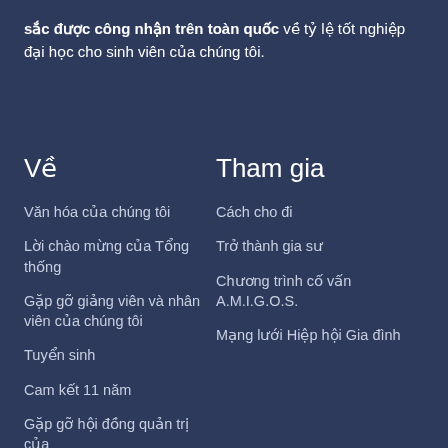sắc được công nhận trên toàn quốc về tỷ lệ tốt nghiệp đại học cho sinh viên của chúng tôi.
Về
Tham gia
Văn hóa của chúng tôi
Lời chào mừng của Tổng thống
Gặp gỡ giảng viên và nhân viên của chúng tôi
Tuyển sinh
Cam kết 11 năm
Gặp gỡ hội đồng quản trị của
Cách cho đi
Trở thành gia sư
Chương trình cố vấn A.M.I.G.O.S.
Mạng lưới Hiệp hội Gia đình